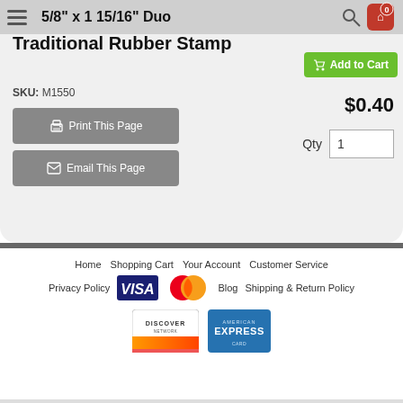5/8" x 1 15/16" Duo Traditional Rubber Stamp
Traditional Rubber Stamp
SKU: M1550
Add to Cart
$0.40
Qty 1
Print This Page
Email This Page
Home  Shopping Cart  Your Account  Customer Service  Privacy Policy  Blog  Shipping & Return Policy
[Figure (logo): VISA, MasterCard, Discover, and American Express payment card logos]